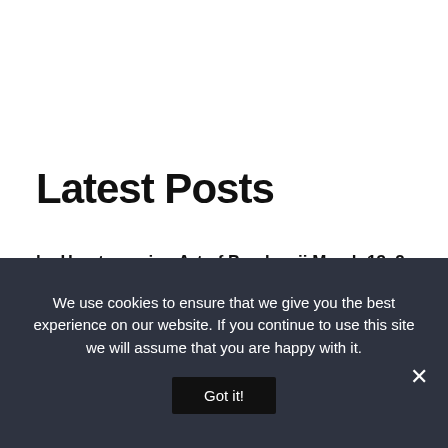Latest Posts
he Heartwarming Art of Pandesaii March 13, 2
he Lily Cat Editorials – The Passion That Matt
ebruary 22, 2022
h, where do I begin? October 16, 2021
ow to Keep Your Online Accounts Secured – A
PREVIOUS POST
NEXT POST
We use cookies to ensure that we give you the best experience on our website. If you continue to use this site we will assume that you are happy with it.